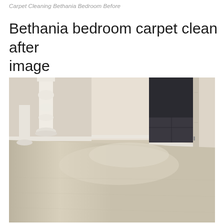Carpet Cleaning Bethania Bedroom Before
Bethania bedroom carpet clean after image
[Figure (photo): A cleaned bedroom carpet in a light beige/cream color. The room shows white painted walls with white skirting boards, a white wooden bed frame/post visible on the left side, and a doorway opening to another room with dark tile flooring visible. The carpet appears freshly cleaned and uniform in color.]